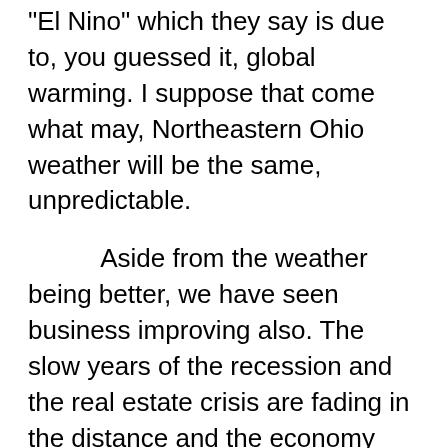“El Nino” which they say is due to, you guessed it, global warming. I suppose that come what may, Northeastern Ohio weather will be the same, unpredictable.
Aside from the weather being better, we have seen business improving also. The slow years of the recession and the real estate crisis are fading in the distance and the economy seems to be improving. Most people have more money to spend and they have been doing some of those home maintenance chores that have been put off for a few years. We have also met several families new to Burton that have purchased homes in the area. They check out what downtown